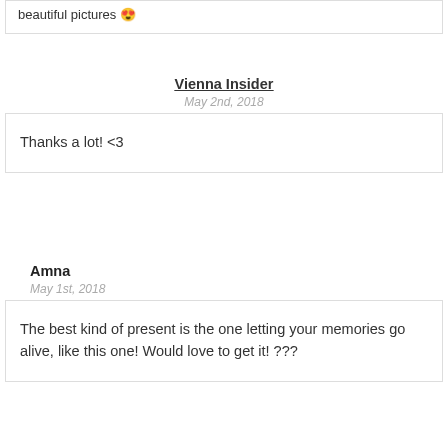beautiful pictures 😍
Vienna Insider
May 2nd, 2018
Thanks a lot! <3
Amna
May 1st, 2018
The best kind of present is the one letting your memories go alive, like this one! Would love to get it! ???